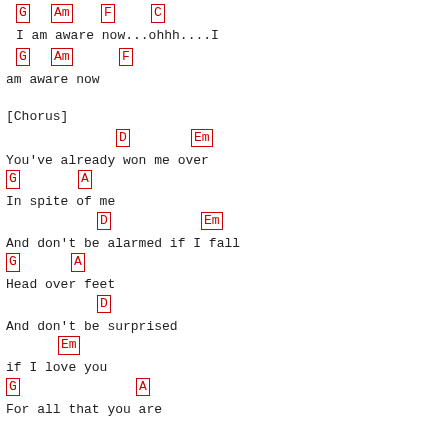G  Am  F  C (chords)
I am aware now...ohhh....I
G  Am  F (chords)
am aware now
[Chorus]
D  Em (chords)
You've already won me over
G  A (chords)
In spite of me
D  Em (chords)
And don't be alarmed if I fall
G  A (chords)
Head over feet
D (chord)
And don't be surprised
Em (chord)
if I love you
G  A (chords)
For all that you are